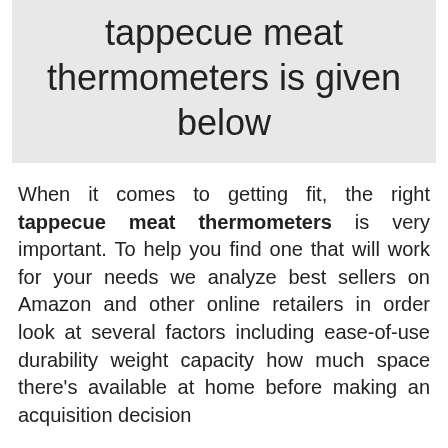tappecue meat thermometers is given below
When it comes to getting fit, the right tappecue meat thermometers is very important. To help you find one that will work for your needs we analyze best sellers on Amazon and other online retailers in order look at several factors including ease-of-use durability weight capacity how much space there’s available at home before making an acquisition decision
There are many types of tappecue meat thermometers to choose from, so it can be difficult to know which one is right for you.